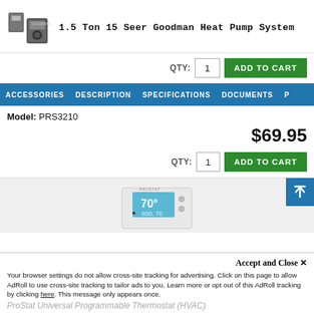1.5 Ton 15 Seer Goodman Heat Pump System
QTY: 1  ADD TO CART
ACCESSORIES  DESCRIPTION  SPECIFICATIONS  DOCUMENTS  P
Model: PRS3210
$69.95
QTY: 1  ADD TO CART
[Figure (photo): ProStat thermostat device image showing digital display]
[Figure (other): Scroll to top button - blue square with upward arrow]
Accept and Close X
Your browser settings do not allow cross-site tracking for advertising. Click on this page to allow AdRoll to use cross-site tracking to tailor ads to you. Learn more or opt out of this AdRoll tracking by clicking here. This message only appears once.
ProStat Universal Programmable Thermostat (HVAC)